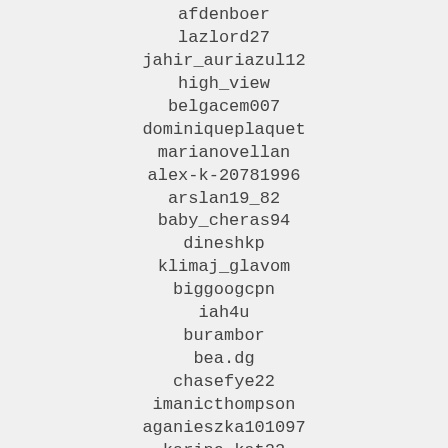afdenboer
lazlord27
jahir_auriazul12
high_view
belgacem007
dominiqueplaquet
marianovellan
alex-k-20781996
arslan19_82
baby_cheras94
dineshkp
klimaj_glavom
biggoogcpn
iah4u
burambor
bea.dg
chasefye22
imanicthompson
aganieszka101097
karine.kat22
bguigoivbio
julinhalarinha_15150
brittleorgans
indiegopublishing
diaz_01_0_0